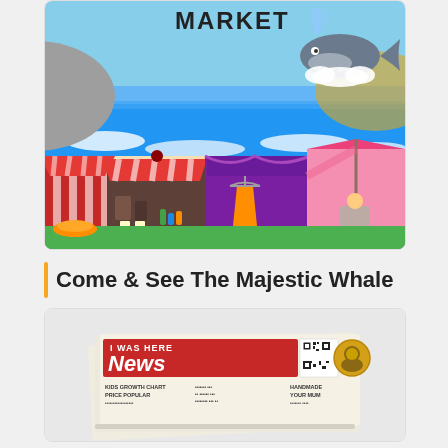[Figure (illustration): Colorful cartoon illustration of a seaside market with striped stalls/tents, a whale spouting water in the sky above the ocean, hills, and merchandise including clothing and food items. Text 'MARKET' visible at top.]
Come & See The Majestic Whale
[Figure (photo): Photo of a newspaper called 'I WAS HERE News' with a red masthead, showing folded newspaper pages with headlines including 'KIDS GROWTH CHART' and 'PRICE POPULAR', a QR code, and a circular portrait photo.]